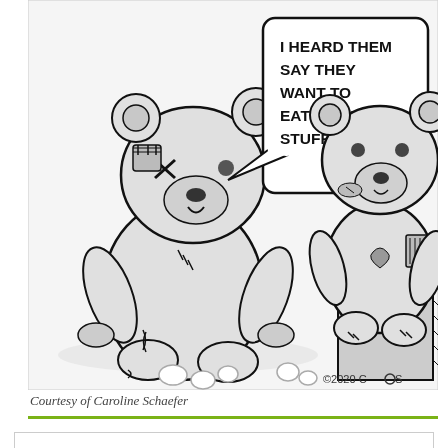[Figure (illustration): Cartoon of two worn/patched teddy bears. The left bear has X eyes, patches, stitches, and torn stuffing falling out. It has a speech bubble saying 'I HEARD THEM SAY THEY WANT TO EAT MORE STUFFING!' The right bear sits on a box and watches. Copyright 2020 CbS in bottom right. Black and white sketch style.]
Courtesy of Caroline Schaefer
Privacy & Cookies: This site uses cookies. By continuing to use this website, you agree to their use.
To find out more, including how to control cookies, see here: Cookie Policy